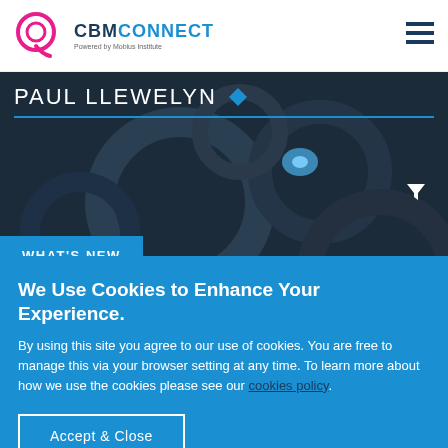CBM CONNECT - Powered by Mobius Institute
[Figure (screenshot): CBM Connect website header with logo and hamburger menu icon]
PAUL LLEWELYN
[Figure (photo): Dark industrial gears background image]
WHAT'S NEW
FIVE MINUTE FACTS
Lubricant Viscosity Explained
We Use Cookies to Enhance Your Experience.
By using this site you agree to our use of cookies. You are free to manage this via your browser setting at any time. To learn more about how we use the cookies please see our cookies policy.
Accept & Close